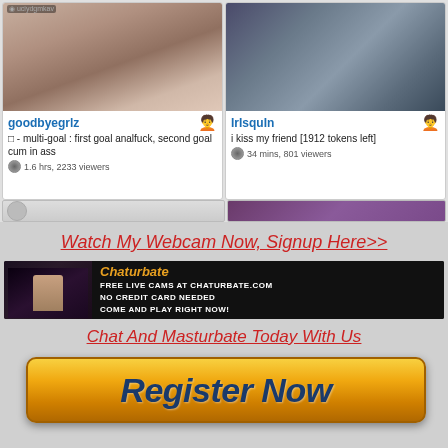[Figure (screenshot): Two webcam performer cards side by side. Left card shows username 'goodbyegrlz' with description '□ - multi-goal : first goal analfuck, second goal cum in ass' and '1.6 hrs, 2233 viewers'. Right card shows username 'IrIsquIn' with description 'i kiss my friend [1912 tokens left]' and '34 mins, 801 viewers'.]
Watch My Webcam Now, Signup Here>>
[Figure (screenshot): Chaturbate banner ad: FREE LIVE CAMS AT CHATURBATE.COM NO CREDIT CARD NEEDED COME AND PLAY RIGHT NOW!]
Chat And Masturbate Today With Us
[Figure (illustration): Orange/yellow gradient Register Now button with dark blue italic bold text]